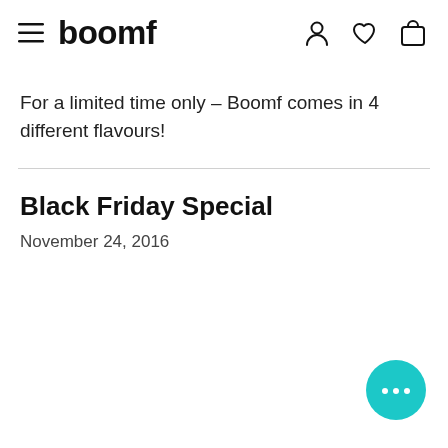boomf
For a limited time only – Boomf comes in 4 different flavours!
Black Friday Special
November 24, 2016
[Figure (other): Teal chat bubble button with ellipsis icon in bottom right corner]